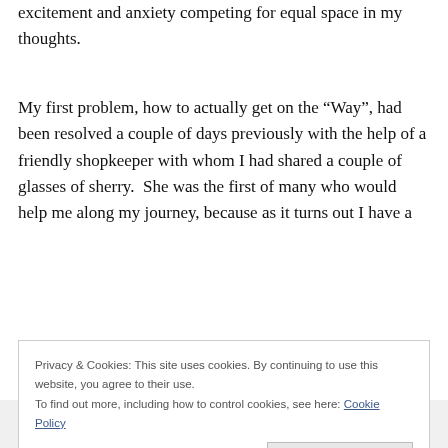excitement and anxiety competing for equal space in my thoughts.
My first problem, how to actually get on the “Way”, had been resolved a couple of days previously with the help of a friendly shopkeeper with whom I had shared a couple of glasses of sherry.  She was the first of many who would help me along my journey, because as it turns out I have a
Privacy & Cookies: This site uses cookies. By continuing to use this website, you agree to their use.
To find out more, including how to control cookies, see here: Cookie Policy
Close and accept
[Figure (photo): Partial view of a green outdoor photo at the bottom of the page]